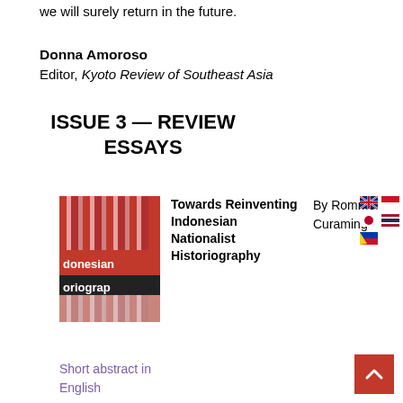we will surely return in the future.
Donna Amoroso
Editor, Kyoto Review of Southeast Asia
ISSUE 3 — REVIEW ESSAYS
[Figure (photo): Book cover showing 'Indonesian Historiography' with red and white striped background]
Towards Reinventing Indonesian Nationalist Historiography
By Rommel Curaming
[Figure (other): Flag icons: UK, Indonesia, Japan, Thailand, Philippines]
Short abstract in English